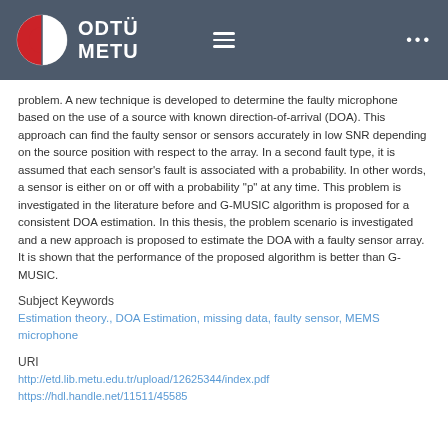ODTÜ METU
problem. A new technique is developed to determine the faulty microphone based on the use of a source with known direction-of-arrival (DOA). This approach can find the faulty sensor or sensors accurately in low SNR depending on the source position with respect to the array. In a second fault type, it is assumed that each sensor's fault is associated with a probability. In other words, a sensor is either on or off with a probability "p" at any time. This problem is investigated in the literature before and G-MUSIC algorithm is proposed for a consistent DOA estimation. In this thesis, the problem scenario is investigated and a new approach is proposed to estimate the DOA with a faulty sensor array. It is shown that the performance of the proposed algorithm is better than G-MUSIC.
Subject Keywords
Estimation theory., DOA Estimation, missing data, faulty sensor, MEMS microphone
URI
http://etd.lib.metu.edu.tr/upload/12625344/index.pdf
https://hdl.handle.net/11511/45585